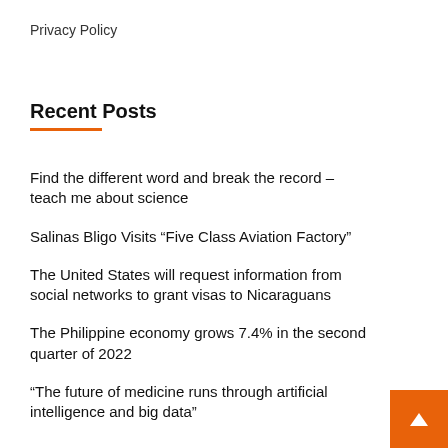Privacy Policy
Recent Posts
Find the different word and break the record – teach me about science
Salinas Bligo Visits “Five Class Aviation Factory”
The United States will request information from social networks to grant visas to Nicaraguans
The Philippine economy grows 7.4% in the second quarter of 2022
“The future of medicine runs through artificial intelligence and big data”